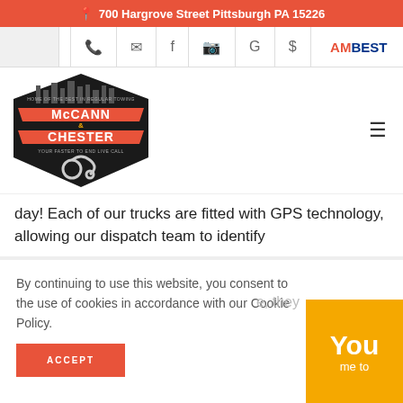📍 700 Hargrove Street Pittsburgh PA 15226
[Figure (logo): McCann Chester towing company logo with city skyline and tow hook]
day! Each of our trucks are fitted with GPS technology, allowing our dispatch team to identify
By continuing to use this website, you consent to the use of cookies in accordance with our Cookie Policy.
ACCEPT